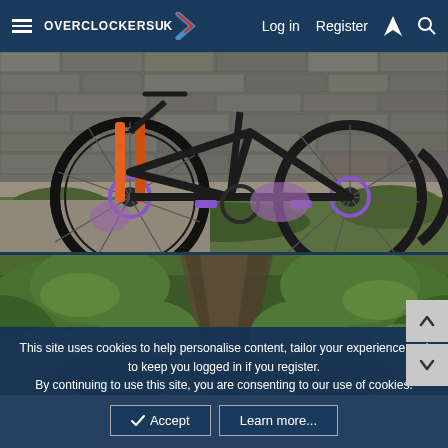Overclockers UK — Log in | Register
[Figure (photo): Close-up photograph of a black mountain bike leaning against a stone wall, with purple accents on pedals and brakes, orange fork suspension visible, gravel ground with green grass patches.]
[Figure (photo): Aerial/ground-level photograph of dense green forest/fern undergrowth with a dirt trail running through the middle.]
This site uses cookies to help personalise content, tailor your experience and to keep you logged in if you register.
By continuing to use this site, you are consenting to our use of cookies.
✓ Accept   Learn more...